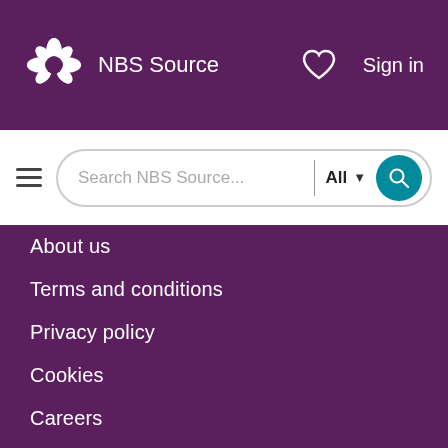NBS Source
[Figure (screenshot): NBS Source website navigation page showing header with logo, search bar, and footer menu links including About us, Terms and conditions, Privacy policy, Cookies, Careers, NBS Code of conduct]
About us
Terms and conditions
Privacy policy
Cookies
Careers
NBS Code of conduct